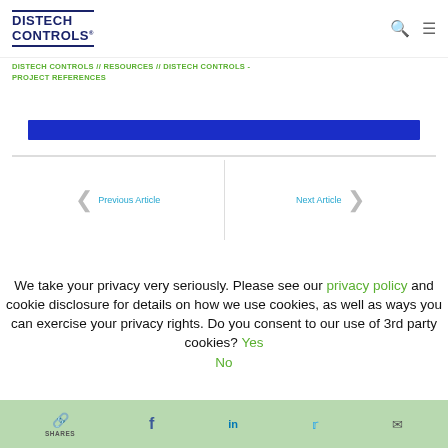DISTECH CONTROLS
DISTECH CONTROLS // RESOURCES // DISTECH CONTROLS - PROJECT REFERENCES
[Figure (other): Blue banner image strip]
Previous Article
Next Article
We take your privacy very seriously. Please see our privacy policy and cookie disclosure for details on how we use cookies, as well as ways you can exercise your privacy rights. Do you consent to our use of 3rd party cookies? Yes No